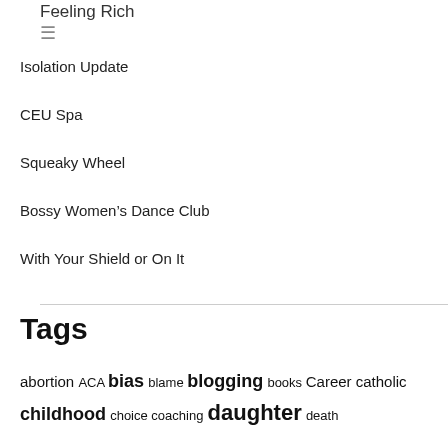Feeling Rich
≡
Isolation Update
CEU Spa
Squeaky Wheel
Bossy Women's Dance Club
With Your Shield or On It
Tags
abortion ACA bias blame blogging books Career catholic childhood choice coaching daughter death